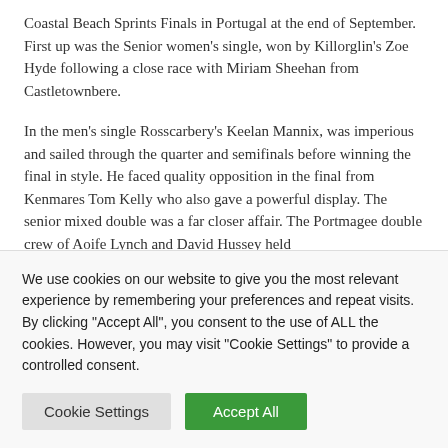Coastal Beach Sprints Finals in Portugal at the end of September. First up was the Senior women's single, won by Killorglin's Zoe Hyde following a close race with Miriam Sheehan from Castletownbere.
In the men's single Rosscarbery's Keelan Mannix, was imperious and sailed through the quarter and semifinals before winning the final in style. He faced quality opposition in the final from Kenmares Tom Kelly who also gave a powerful display. The senior mixed double was a far closer affair. The Portmagee double crew of Aoife Lynch and David Hussey held
We use cookies on our website to give you the most relevant experience by remembering your preferences and repeat visits. By clicking "Accept All", you consent to the use of ALL the cookies. However, you may visit "Cookie Settings" to provide a controlled consent.